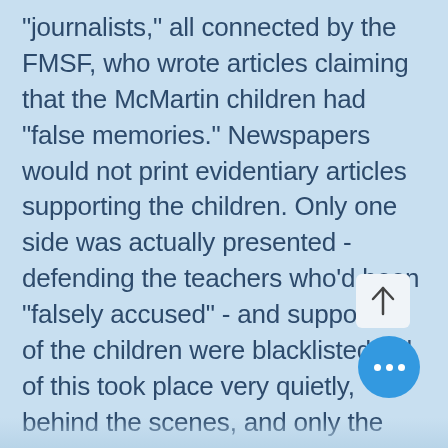"journalists," all connected by the FMSF, who wrote articles claiming that the McMartin children had "false memories." Newspapers would not print evidentiary articles supporting the children. Only one side was actually presented - defending the teachers who'd been "falsely accused" - and supporters of the children were blacklisted. All of this took place very quietly, behind the scenes, and only the parents and children of McMartin understand what happened. The public doesn't comprehend what really went on at the school because the disinformation spun by Ms. Fisc... and another media liar who "reported" on the McMartin case...